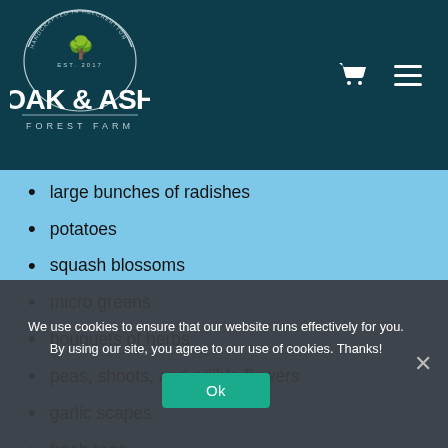[Figure (logo): Oak & Ash Forest Farm logo — circular badge with tree, text 'Handcrafted in Helchertton', EST. 2017, large stylized text 'OAK & ASH', 'FOREST FARM' below, white on dark teal background]
large bunches of radishes
potatoes
squash blossoms
micro greens
bouquets of herbs
peas, shoots, and edible flowers
garlic scapes
fresh teas
mixed berries (partially visible)
We use cookies to ensure that our website runs effectively for you. By using our site, you agree to our use of cookies. Thanks!